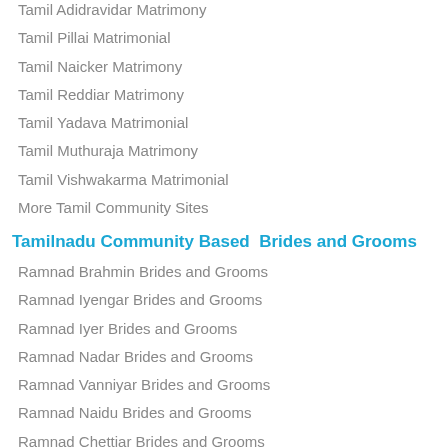Tamil Adidravidar Matrimony
Tamil Pillai Matrimonial
Tamil Naicker Matrimony
Tamil Reddiar Matrimony
Tamil Yadava Matrimonial
Tamil Muthuraja Matrimony
Tamil Vishwakarma Matrimonial
More Tamil Community Sites
Tamilnadu Community Based  Brides and Grooms
Ramnad Brahmin Brides and Grooms
Ramnad Iyengar Brides and Grooms
Ramnad Iyer Brides and Grooms
Ramnad Nadar Brides and Grooms
Ramnad Vanniyar Brides and Grooms
Ramnad Naidu Brides and Grooms
Ramnad Chettiar Brides and Grooms
Ramnad Gounder Brides and Grooms
Ramnad Kallar Brides and Grooms
Ramnad Maravar Brides and Grooms